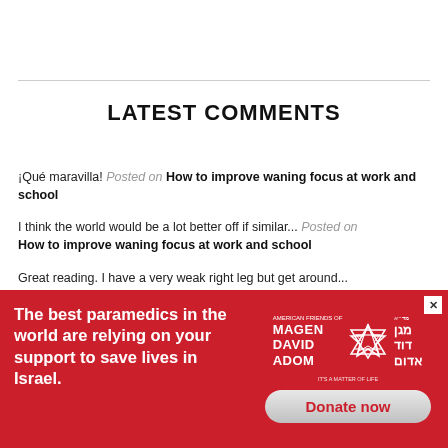LATEST COMMENTS
¡Qué maravilla! Posted on How to improve waning focus at work and school
I think the world would be a lot better off if similar... Posted on How to improve waning focus at work and school
Great reading. I have a very weak right leg but get around... Posted on How to improve waning focus at work and school
...perfect for Rental properties search, but it is... Posted on improve waning focus at work and school
[Figure (infographic): Red advertisement banner for American Friends of Magen David Adom with Star of David logo, text 'The best paramedics in the world are relying on your support to save lives in Israel.' and a 'Donate now' button.]